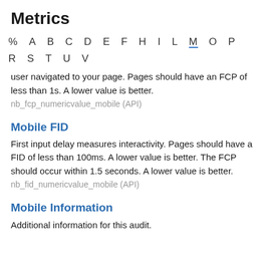Metrics
% A B C D E F H I L M O P R S T U V
user navigated to your page. Pages should have an FCP of less than 1s. A lower value is better.
nb_fcp_numericvalue_mobile (API)
Mobile FID
First input delay measures interactivity. Pages should have a FID of less than 100ms. A lower value is better. The FCP should occur within 1.5 seconds. A lower value is better.
nb_fid_numericvalue_mobile (API)
Mobile Information
Additional information for this audit.